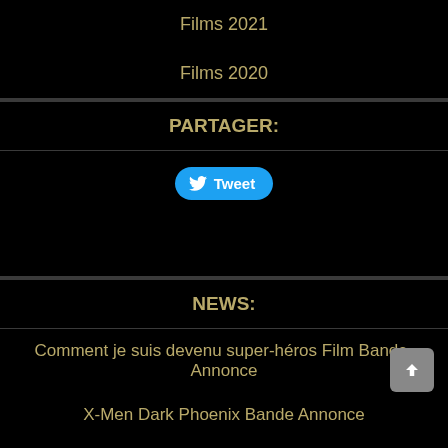Films 2021
Films 2020
PARTAGER:
[Figure (other): Tweet button with Twitter bird icon]
NEWS:
Comment je suis devenu super-héros Film Bande-Annonce
X-Men Dark Phoenix Bande Annonce
Alice T. bande annonce